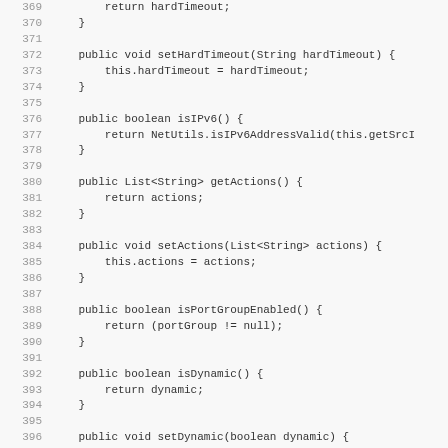Code listing lines 369-401 showing Java methods: setHardTimeout, isIPv6, getActions, setActions, isPortGroupEnabled, isDynamic, setDynamic, getStatus